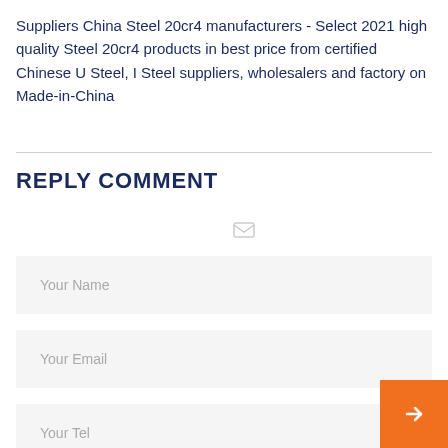Suppliers China Steel 20cr4 manufacturers - Select 2021 high quality Steel 20cr4 products in best price from certified Chinese U Steel, I Steel suppliers, wholesalers and factory on Made-in-China
REPLY COMMENT
Your Name
Your Email
Your Tel